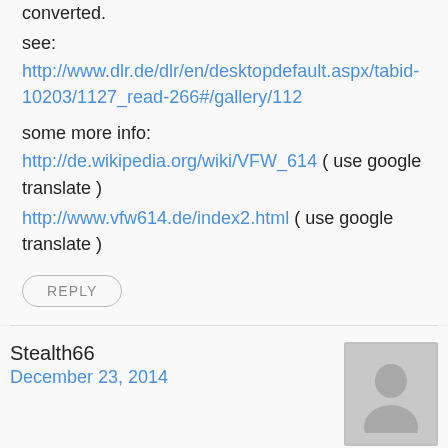converted.
see:
http://www.dlr.de/dlr/en/desktopdefault.aspx/tabid-10203/1127_read-266#/gallery/112
some more info:
http://de.wikipedia.org/wiki/VFW_614 ( use google translate )
http://www.vfw614.de/index2.html ( use google translate )
REPLY
Stealth66
December 23, 2014
[Figure (illustration): Gray avatar/placeholder user icon]
While the Budd Conestoga probably takes the prize for being ugly and strangely named, it is noteworthy for being the first (and possibly last) plane manufactured predominantly